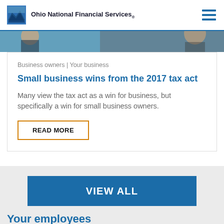Ohio National Financial Services.
[Figure (photo): Partial photo strip showing people in a business context]
Business owners | Your business
Small business wins from the 2017 tax act
Many view the tax act as a win for business, but specifically a win for small business owners.
READ MORE
VIEW ALL
Your employees